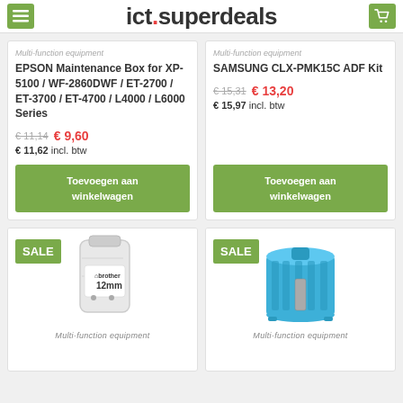ict.superdeals
Multi-function equipment
EPSON Maintenance Box for XP-5100 / WF-2860DWF / ET-2700 / ET-3700 / ET-4700 / L4000 / L6000 Series
€ 11,14  € 9,60
€ 11,62 incl. btw
Toevoegen aan winkelwagen
Multi-function equipment
SAMSUNG CLX-PMK15C ADF Kit
€ 15,31  € 13,20
€ 15,97 incl. btw
Toevoegen aan winkelwagen
[Figure (photo): Brother ink pouch/bag labeled 12mm with SALE badge]
Multi-function equipment
[Figure (photo): Blue cylindrical plastic component/drum unit with SALE badge]
Multi-function equipment